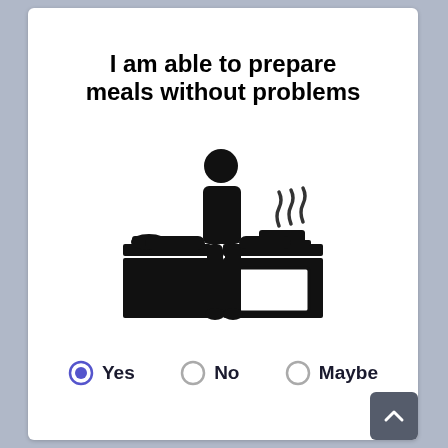I am able to prepare meals without problems
[Figure (illustration): Pictogram of a person standing at a kitchen counter/stove, cooking with steam rising from a pot]
Yes (selected), No, Maybe — radio button options